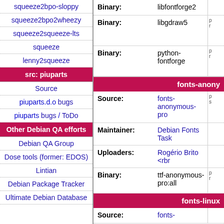squeeze2bpo-sloppy
squeeze2bpo2wheezy
squeeze2squeeze-lts
squeeze
lenny2squeeze
src: piuparts
Source
piuparts.d.o bugs
piuparts bugs / ToDo
Other Debian QA efforts
Debian QA Group
Dose tools (former: EDOS)
Lintian
Debian Package Tracker
Ultimate Debian Database
| Field | Value | Extra |
| --- | --- | --- |
| Binary: | libfontforge2 |  |
| Binary: | libgdraw5 | p r |
| Binary: | python-fontforge | p r |
fonts-anony...
| Field | Value | Extra |
| --- | --- | --- |
| Source: | fonts-anonymous-pro | p s |
| Maintainer: | Debian Fonts Task... |  |
| Uploaders: | Rogério Brito <rbr... |  |
| Binary: | ttf-anonymous-pro:all | p r |
fonts-linux...
| Field | Value |
| --- | --- |
| Source: | fonts- |